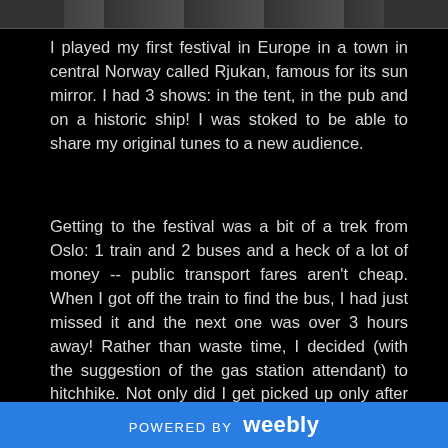[Figure (photo): Partial photo visible at top of page, appears to be a dark image with some structural elements]
I played my first festival in Europe in a town in central Norway called Rjukan, famous for its sun mirror. I had 3 shows: in the tent, in the pub and on a historic ship! I was stoked to be able to share my original tunes to a new audience.
Getting to the festival was a bit of a trek from Oslo: 1 train and 2 buses and a heck of a lot of money -- public transport fares aren't cheap. When I got off the train to find the bus, I had just missed it and the next one was over 3 hours away! Rather than waste time, I decided (with the suggestion of the gas station attendant) to hitchhike. Not only did I get picked up only after a few minutes of holding up my hand-written sign, I had a ride with a lovely retiree all the way to the
POWERED BY weebly